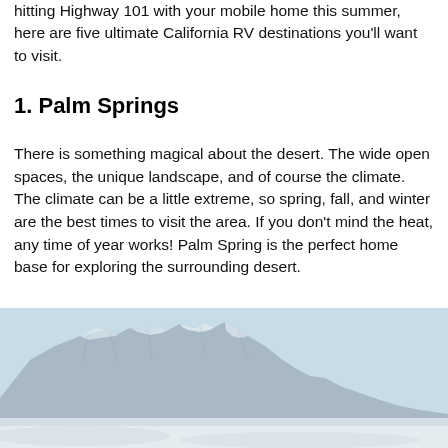hitting Highway 101 with your mobile home this summer, here are five ultimate California RV destinations you'll want to visit.
1. Palm Springs
There is something magical about the desert. The wide open spaces, the unique landscape, and of course the climate. The climate can be a little extreme, so spring, fall, and winter are the best times to visit the area. If you don't mind the heat, any time of year works! Palm Spring is the perfect home base for exploring the surrounding desert.
[Figure (photo): Mountain landscape with snow-capped rocky peaks against a light blue sky, with snowy foreground terrain visible at bottom.]